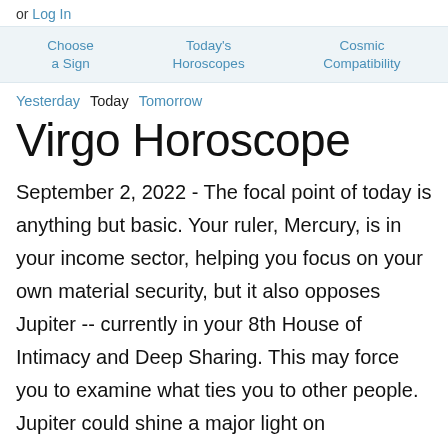or Log In
Choose a Sign   Today's Horoscopes   Cosmic Compatibility
Yesterday   Today   Tomorrow
Virgo Horoscope
September 2, 2022 - The focal point of today is anything but basic. Your ruler, Mercury, is in your income sector, helping you focus on your own material security, but it also opposes Jupiter -- currently in your 8th House of Intimacy and Deep Sharing. This may force you to examine what ties you to other people. Jupiter could shine a major light on